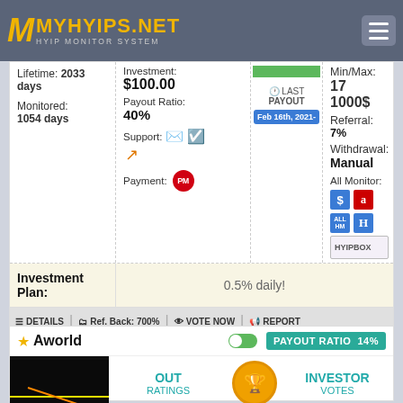MYHYIPS.NET HYIP MONITOR SYSTEM
| Field | Value |
| --- | --- |
| Lifetime: | 2033 days |
| Monitored: | 1054 days |
| Investment: | $100.00 |
| Payout Ratio: | 40% |
| Support: | email, verified, link |
| Payment: | PM |
| Last Payout: | Feb 16th, 2021- |
| Min/Max: | 17 1000$ |
| Referral: | 7% |
| Withdrawal: | Manual |
| All Monitor: | $, a, ALL HM, H, HYIPBOX |
Investment Plan: 0.5% daily!
DETAILS   Ref. Back: 700%   VOTE NOW   REPORT
SCAM   BOOKMARK
Aworld
PAYOUT RATIO 14%
OUT RATINGS
INVESTOR VOTES